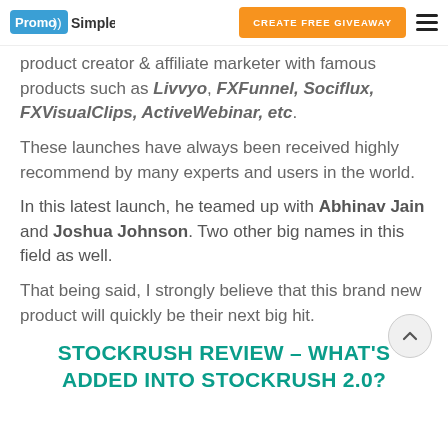PromoSimple | CREATE FREE GIVEAWAY
product creator & affiliate marketer with famous products such as Livvyo, FXFunnel, Sociflux, FXVisualClips, ActiveWebinar, etc.
These launches have always been received highly recommend by many experts and users in the world.
In this latest launch, he teamed up with Abhinav Jain and Joshua Johnson. Two other big names in this field as well.
That being said, I strongly believe that this brand new product will quickly be their next big hit.
STOCKRUSH REVIEW – WHAT'S ADDED INTO STOCKRUSH 2.0?